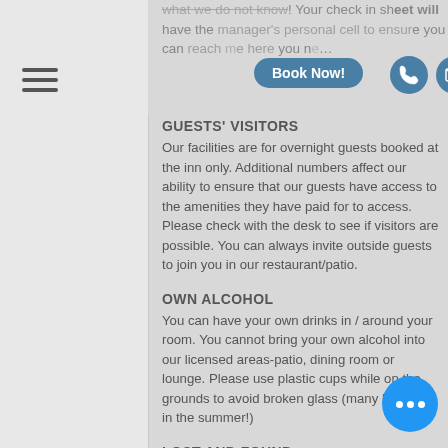[Figure (screenshot): Top partial text with Book Now button, phone icon, and email icon]
GUESTS' VISITORS
Our facilities are for overnight guests booked at the inn only. Additional numbers affect our ability to ensure that our guests have access to the amenities they have paid for to access. Please check with the desk to see if visitors are possible. You can always invite outside guests to join you in our restaurant/patio.
OWN ALCOHOL
You can have your own drinks in / around your room. You cannot bring your own alcohol into our licensed areas-patio, dining room or lounge. Please use plastic cups while on the grounds to avoid broken glass (many bare feet in the summer!)
LOST AND FOUND
We ask for your cell phone number on check-in; this is so that if you forget anything we contact you before you get too far! If it is after your departure, or you realize you left something--we will look for it and discuss how